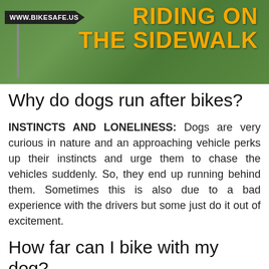[Figure (infographic): Banner image showing a road sign with www.bikesafe.us and bold orange text reading RIDING ON THE SIDEWALK on a green grassy background]
Why do dogs run after bikes?
INSTINCTS AND LONELINESS: Dogs are very curious in nature and an approaching vehicle perks up their instincts and urge them to chase the vehicles suddenly. So, they end up running behind them. Sometimes this is also due to a bad experience with the drivers but some just do it out of excitement.
How far can I bike with my dog?
(partial text cut off at bottom)